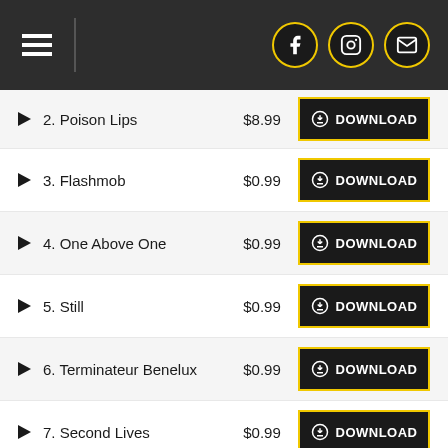Navigation header with hamburger menu and social icons (Facebook, Instagram, Email)
2. Poison Lips — $8.99 — DOWNLOAD
3. Flashmob — $0.99 — DOWNLOAD
4. One Above One — $0.99 — DOWNLOAD
5. Still — $0.99 — DOWNLOAD
6. Terminateur Benelux — $0.99 — DOWNLOAD
7. Second Lives — $0.99 — DOWNLOAD
8. Allan Dellon — $0.99 — DOWNLOAD
9. See The Sea (Blue) — $0.99 — DOWNLOAD
10. Chicken Lady — $0.99 — DOWNLOAD